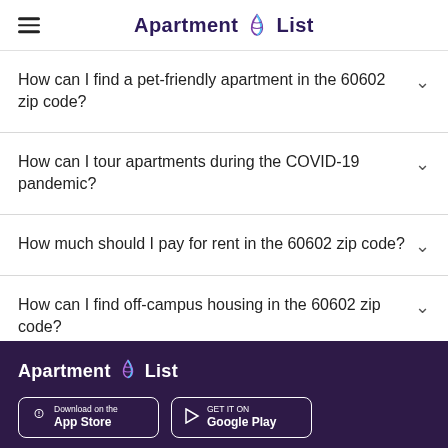Apartment List
How can I find a pet-friendly apartment in the 60602 zip code?
How can I tour apartments during the COVID-19 pandemic?
How much should I pay for rent in the 60602 zip code?
How can I find off-campus housing in the 60602 zip code?
Apartment List — Download on the App Store / Get it on Google Play